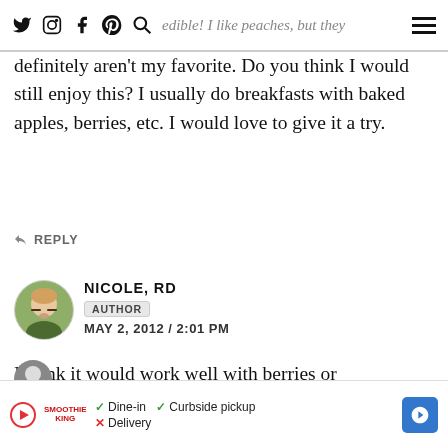Social media icons and navigation
ow this food is incredible! I like peaches, but they definitely aren't my favorite. Do you think I would still enjoy this? I usually do breakfasts with baked apples, berries, etc. I would love to give it a try.
REPLY
NICOLE, RD
AUTHOR
MAY 2, 2012 / 2:01 PM
I think it would work well with berries or cherries….mmm!
REPLY
[Figure (photo): Profile avatar photo of Nicole, RD - woman with blonde hair]
[Figure (infographic): Advertisement bar for Smoothie King showing Dine-in, Curbside pickup, and Delivery options]